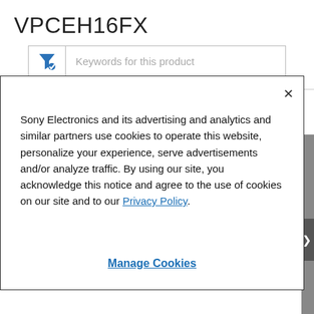VPCEH16FX
Keywords for this product
View All
Sony Electronics and its advertising and analytics and similar partners use cookies to operate this website, personalize your experience, serve advertisements and/or analyze traffic. By using our site, you acknowledge this notice and agree to the use of cookies on our site and to our Privacy Policy.
Manage Cookies